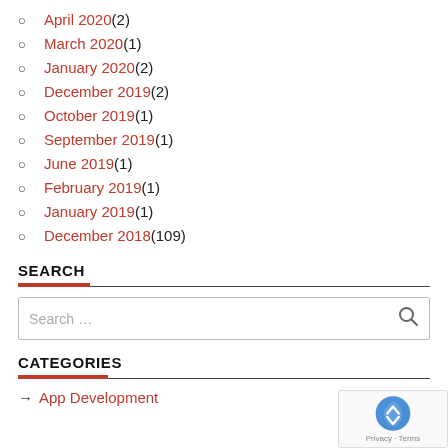April 2020 (2)
March 2020 (1)
January 2020 (2)
December 2019 (2)
October 2019 (1)
September 2019 (1)
June 2019 (1)
February 2019 (1)
January 2019 (1)
December 2018 (109)
SEARCH
Search ...
CATEGORIES
App Development